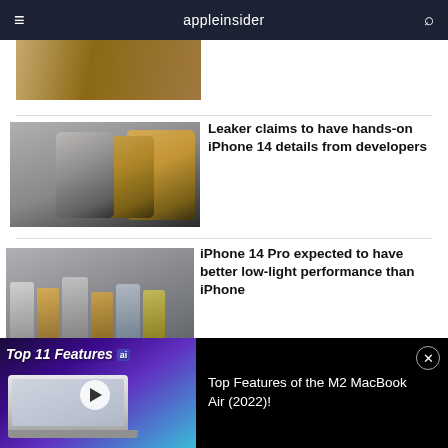appleinsider
[Figure (photo): Partial image of wooden surface - top of article thumbnail]
[Figure (photo): Two gold iPhone Pro models photographed from back showing triple camera systems against gray background]
Leaker claims to have hands-on iPhone 14 details from developers
[Figure (photo): Group of iPhone 14 Pro models in various colors shown from back]
iPhone 14 Pro expected to have better low-light performance than iPhone
[Figure (screenshot): Video ad thumbnail: Top 11 Features of M2 MacBook Air (2022)! with laptop image and play button, purple gradient background]
Top Features of the M2 MacBook Air (2022)!